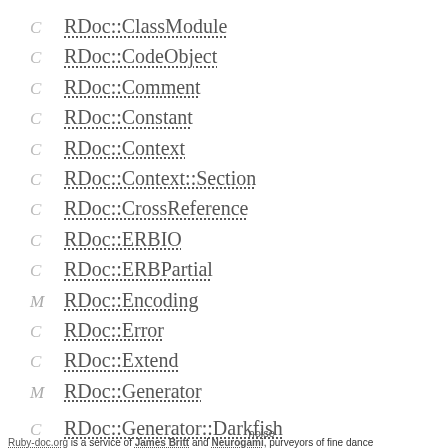C  RDoc::ClassModule
C  RDoc::CodeObject
C  RDoc::Comment
C  RDoc::Constant
C  RDoc::Context
C  RDoc::Context::Section
C  RDoc::CrossReference
C  RDoc::ERBIO
C  RDoc::ERBPartial
M  RDoc::Encoding
C  RDoc::Error
C  RDoc::Extend
M  RDoc::Generator
C  RDoc::Generator::Darkfish
Ruby-doc.org is a service of James Britt and Neurogami, purveyors of fine dance noise